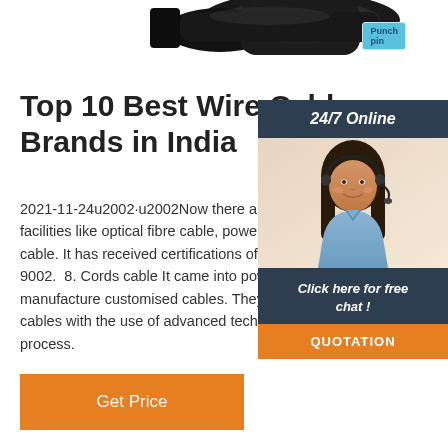[Figure (photo): Product image of wire cable connector (black cable) at top of page, partially visible]
[Figure (illustration): Small 'Punch pin' badge/label in light blue]
[Figure (photo): 24/7 Online chat widget sidebar with woman wearing headset, dark navy header, chat and quotation button]
Top 10 Best Wire Cables Brands in India
2021-11-24u2002·u2002Now there are manufacturing facilities like optical fibre cable, power cable, and jelly filled cable. It has received certifications of ISO 9001 and ISO 9002. ... 8. Cords cable It came into power in 1987, they manufacture customised cables. They produce best quality cables with the use of advanced technology and modern process.
Get Price